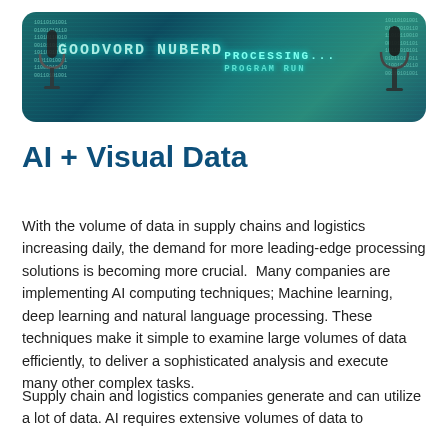[Figure (photo): Banner image with teal/dark circuit board background, microphones on left and right, and green monospace text reading 'PROCESSING...' and 'PROGRAM RUN' in the center-right area. Code-like text overlays in the corners.]
AI + Visual Data
With the volume of data in supply chains and logistics increasing daily, the demand for more leading-edge processing solutions is becoming more crucial.  Many companies are implementing AI computing techniques; Machine learning, deep learning and natural language processing. These techniques make it simple to examine large volumes of data efficiently, to deliver a sophisticated analysis and execute many other complex tasks.
Supply chain and logistics companies generate and can utilize a lot of data. AI requires extensive volumes of data to